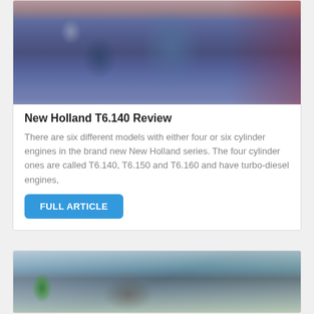[Figure (photo): Blue New Holland T6.140 tractor close-up photo showing the front and cab area]
New Holland T6.140 Review
There are six different models with either four or six cylinder engines in the brand new New Holland series. The four cylinder ones are called T6.140, T6.150 and T6.160 and have turbo-diesel engines,
FULL ARTICLE
[Figure (photo): Outdoor photo showing tractor equipment with trees in background and green logo element visible]